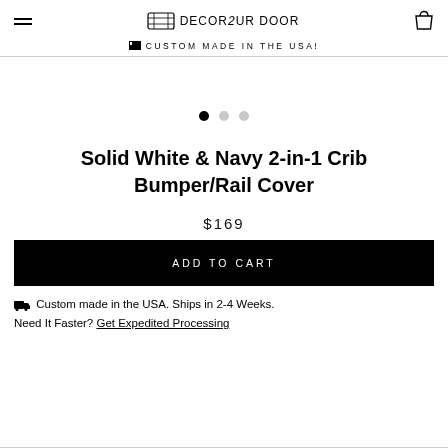DECOR 2 UR DOOR
🏴 CUSTOM MADE IN THE USA!
[Figure (other): Image carousel with three dots navigation: first dot filled (active), second and third dots empty]
Solid White & Navy 2-in-1 Crib Bumper/Rail Cover
$169
ADD TO CART
🚚 Custom made in the USA. Ships in 2-4 Weeks. Need It Faster? Get Expedited Processing